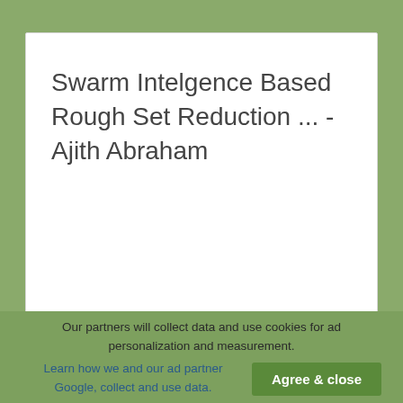Swarm Intelgence Based Rough Set Reduction ... - Ajith Abraham
Our partners will collect data and use cookies for ad personalization and measurement. Learn how we and our ad partner Google, collect and use data.
Agree & close